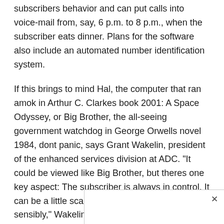subscribers behavior and can put calls into voice-mail from, say, 6 p.m. to 8 p.m., when the subscriber eats dinner. Plans for the software also include an automated number identification system.
If this brings to mind Hal, the computer that ran amok in Arthur C. Clarkes book 2001: A Space Odyssey, or Big Brother, the all-seeing government watchdog in George Orwells novel 1984, dont panic, says Grant Wakelin, president of the enhanced services division at ADC. "It could be viewed like Big Brother, but theres one key aspect: The subscriber is always in control. It can be a little scary, but I think it can be applied sensibly," Wakelin says.
Lucents Kozik says that with his companys ICP software "there are privacy standards. Only the people who have registere